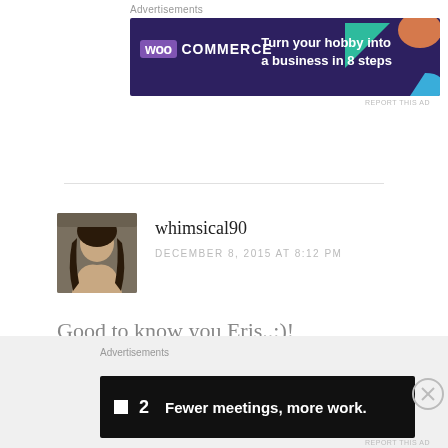[Figure (other): WooCommerce advertisement banner: purple/dark background with geometric shapes (teal triangle, orange circle, blue arc), WooCommerce logo on left, text: Turn your hobby into a business in 8 steps]
Good to know you Eris..:)!
Liked by 1 person
REPLY
[Figure (other): P2 advertisement banner: dark background, logo on left, text: Fewer meetings, more work.]